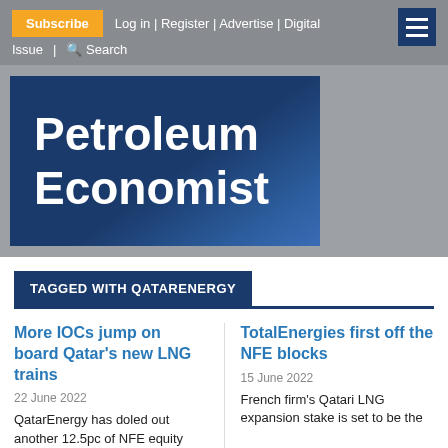Subscribe | Log in | Register | Advertise | Digital Issue | Search
[Figure (logo): Petroleum Economist logo — white bold text on dark blue gradient background]
TAGGED WITH QATARENERGY
More IOCs jump on board Qatar's new LNG trains
22 June 2022
QatarEnergy has doled out another 12.5pc of NFE equity
TotalEnergies first off the NFE blocks
15 June 2022
French firm's Qatari LNG expansion stake is set to be the